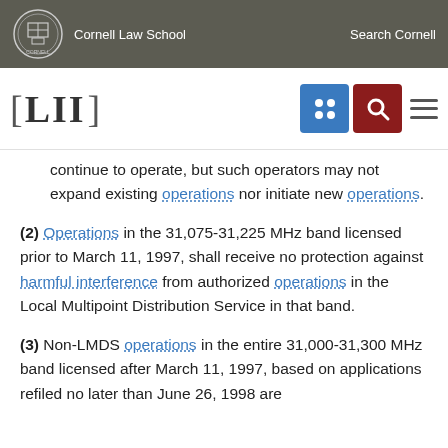Cornell Law School  Search Cornell
continue to operate, but such operators may not expand existing operations nor initiate new operations.
(2) Operations in the 31,075-31,225 MHz band licensed prior to March 11, 1997, shall receive no protection against harmful interference from authorized operations in the Local Multipoint Distribution Service in that band.
(3) Non-LMDS operations in the entire 31,000-31,300 MHz band licensed after March 11, 1997, based on applications refiled no later than June 26, 1998 are